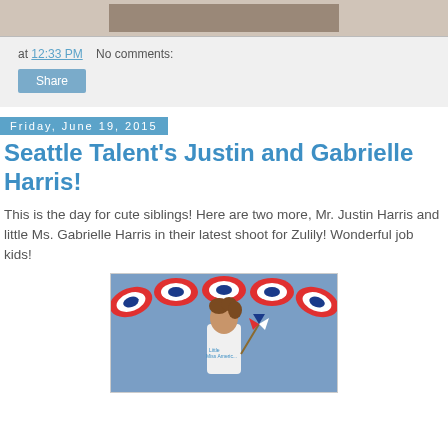[Figure (photo): Partial top of a photo showing a person, cropped at top of page]
at 12:33 PM   No comments:
Share
Friday, June 19, 2015
Seattle Talent's Justin and Gabrielle Harris!
This is the day for cute siblings! Here are two more, Mr. Justin Harris and little Ms. Gabrielle Harris in their latest shoot for Zulily! Wonderful job kids!
[Figure (photo): Young girl with curly hair holding an American flag pinwheel, wearing a white Little Miss America outfit, standing in front of red, white, and blue patriotic bunting decorations on a blue background]